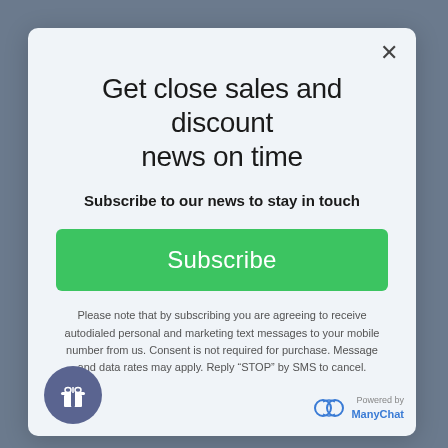Get close sales and discount news on time
Subscribe to our news to stay in touch
Subscribe
Please note that by subscribing you are agreeing to receive autodialed personal and marketing text messages to your mobile number from us. Consent is not required for purchase. Message and data rates may apply. Reply “STOP” by SMS to cancel.
[Figure (logo): ManyChat logo with 'Powered by ManyChat' text]
[Figure (illustration): Gift box icon in circular purple badge]